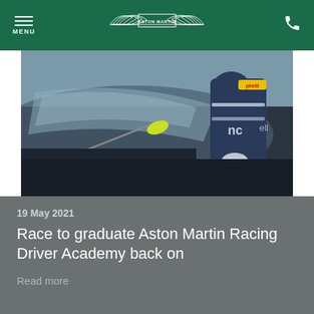MENU | ASTON MARTIN | [phone]
[Figure (photo): A racing driver in a blue and white Aston Martin racing suit with Pirelli branding, leaning over a racing car. A yellow-green wing mirror is visible in the foreground.]
19 May 2021
Race to graduate Aston Martin Racing Driver Academy back on
Read more